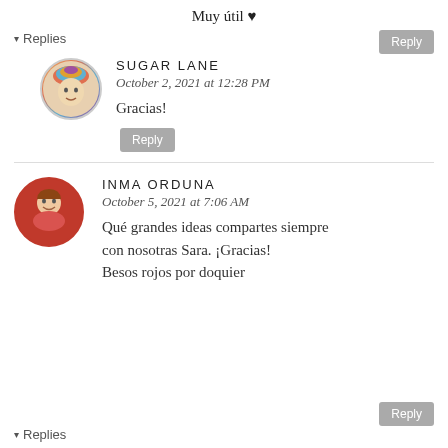Muy útil ♥
▾ Replies
SUGAR LANE
October 2, 2021 at 12:28 PM
Gracias!
INMA ORDUNA
October 5, 2021 at 7:06 AM
Qué grandes ideas compartes siempre con nosotras Sara. ¡Gracias! Besos rojos por doquier
▾ Replies